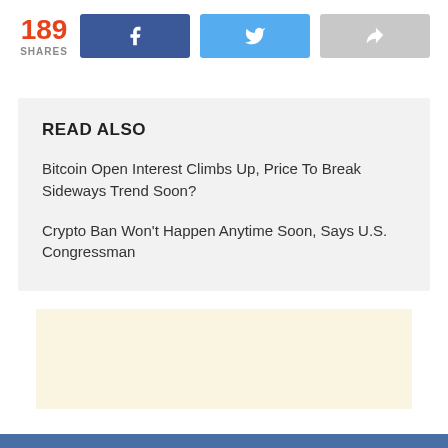189 SHARES
[Figure (infographic): Social share bar with 189 shares count, Facebook button, Twitter button, and share/forward button]
READ ALSO
Bitcoin Open Interest Climbs Up, Price To Break Sideways Trend Soon?
Crypto Ban Won't Happen Anytime Soon, Says U.S. Congressman
[Figure (other): Advertisement placeholder box with light yellow/cream background]